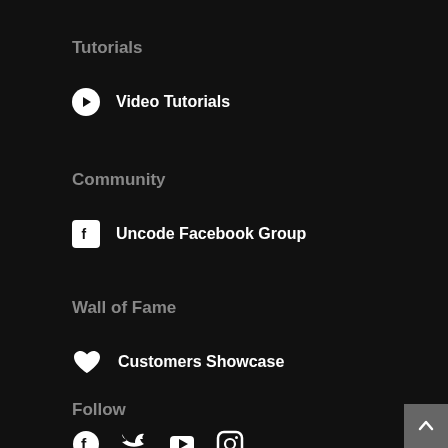Tutorials
Video Tutorials
Community
Uncode Facebook Group
Wall of Fame
Customers Showcase
Follow
Facebook, Twitter, YouTube, Instagram